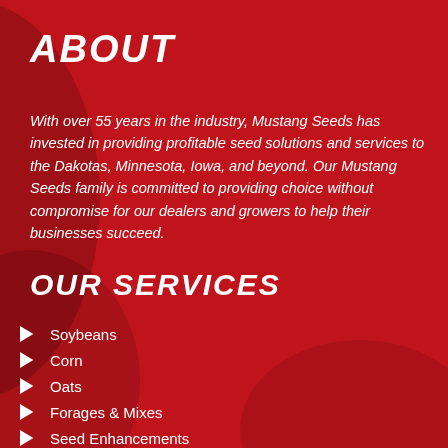ABOUT
With over 55 years in the industry, Mustang Seeds has invested in providing profitable seed solutions and services to the Dakotas, Minnesota, Iowa, and beyond. Our Mustang Seeds family is committed to providing choice without compromise for our dealers and growers to help their businesses succeed.
OUR SERVICES
Soybeans
Corn
Oats
Forages & Mixes
Seed Enhancements